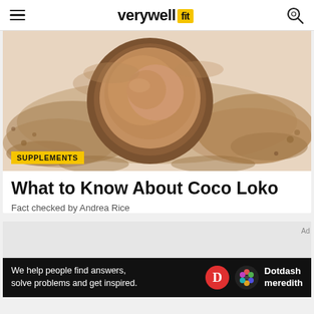verywell fit
[Figure (photo): A wooden bowl filled with brown cocoa powder, with powder scattered around it on a white background]
SUPPLEMENTS
What to Know About Coco Loko
Fact checked by Andrea Rice
[Figure (screenshot): Advertisement banner: 'We help people find answers, solve problems and get inspired.' with Dotdash Meredith logo]
Ad